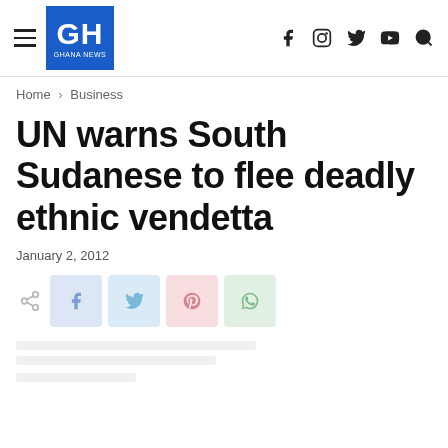GH GHANA NEWS — navigation header with social icons
Home › Business
UN warns South Sudanese to flee deadly ethnic vendetta
January 2, 2012
[Figure (other): Social share buttons row: share icon, Facebook, Twitter, Pinterest, WhatsApp buttons]